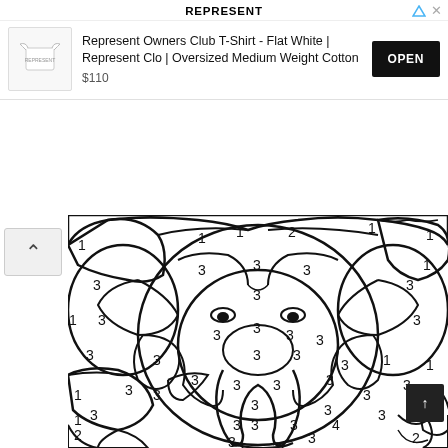REPRESENT
[Figure (screenshot): Advertisement banner for Represent Owners Club T-Shirt - Flat White | Represent Clo | Oversized Medium Weight Cotton, priced at $110, with an OPEN button]
[Figure (illustration): Color-by-number coloring page featuring a lion/elephant face with numbered regions. Numbers 1, 2, 3, and 4 are scattered throughout the regions. The image is black and white line art.]